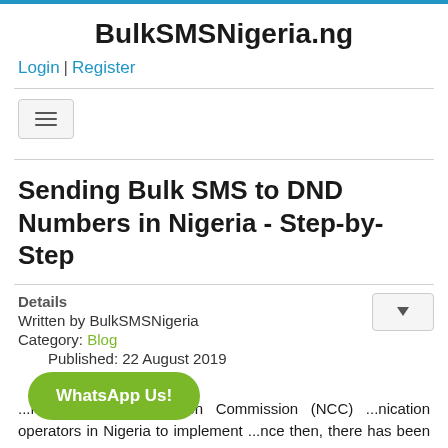BulkSMSNigeria.ng
Login | Register
[Figure (other): Hamburger/navigation toggle button with three horizontal lines]
Sending Bulk SMS to DND Numbers in Nigeria - Step-by-Step
Details
Written by BulkSMSNigeria
Category: Blog
Published: 22 August 2019
Hits: 2881
...Nigerian Communication Commission (NCC) ...nication operators in Nigeria to implement ...nce then, there has been a serious issue with bulk SMS delivery to DND numbers in Nigeria. This issue is as a result